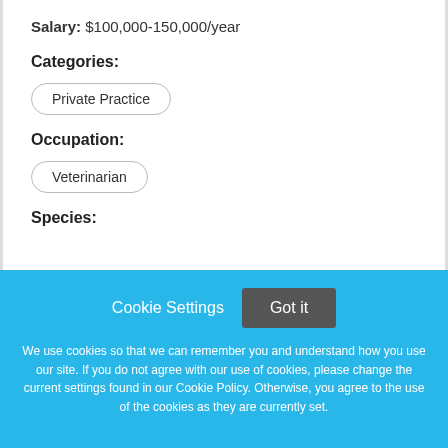Salary: $100,000-150,000/year
Categories:
Private Practice
Occupation:
Veterinarian
Species:
Cookie Settings  Got it
We use cookies so that we can remember you and understand how you use our site. If you do not agree with our use of cookies, please change the current settings found in our Cookie Policy. Otherwise, you agree to the use of the cookies as they are currently set.